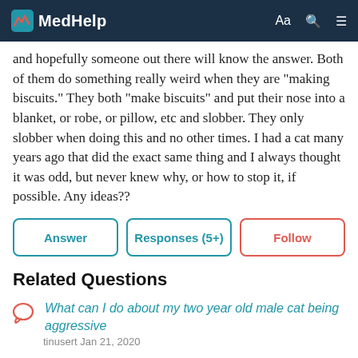MedHelp
and hopefully someone out there will know the answer. Both of them do something really weird when they are "making biscuits." They both "make biscuits" and put their nose into a blanket, or robe, or pillow, etc and slobber. They only slobber when doing this and no other times. I had a cat many years ago that did the exact same thing and I always thought it was odd, but never knew why, or how to stop it, if possible. Any ideas??
Related Questions
What can I do about my two year old male cat being aggressive
tinusert Jan 21, 2020